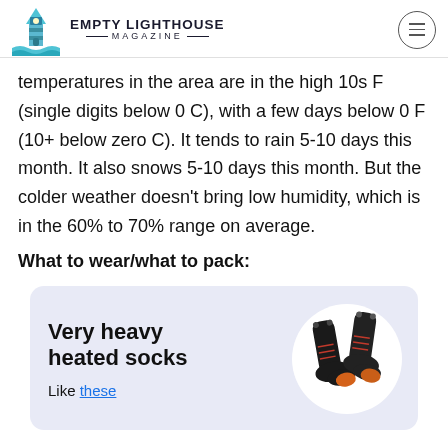EMPTY LIGHTHOUSE MAGAZINE
temperatures in the area are in the high 10s F (single digits below 0 C), with a few days below 0 F (10+ below zero C). It tends to rain 5-10 days this month. It also snows 5-10 days this month. But the colder weather doesn't bring low humidity, which is in the 60% to 70% range on average.
What to wear/what to pack:
[Figure (infographic): Product card with lavender background showing 'Very heavy heated socks' with a circular image of black heated socks with orange/copper toe areas, and a link 'Like these']